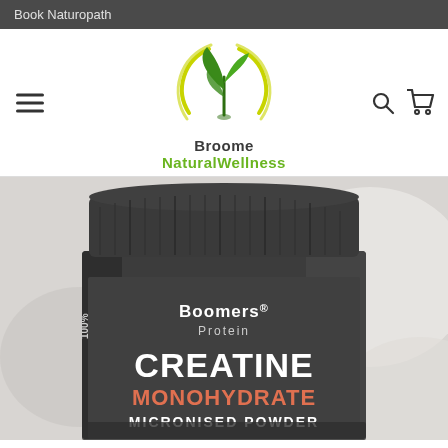Book Naturopath
[Figure (logo): Broome NaturalWellness logo with green plant/leaf graphic and circular arc design]
[Figure (photo): Boomers Protein 100% Creatine Monohydrate Micronised Powder supplement container, dark grey/charcoal colored tub with white and orange text, shown on a light blurred background]